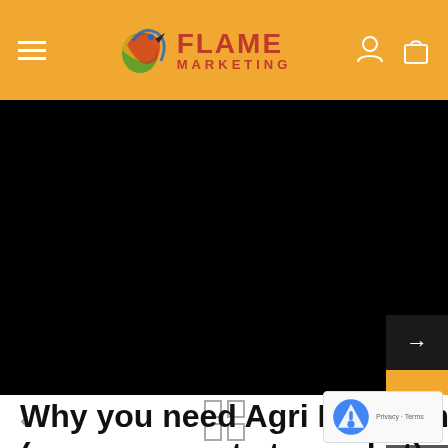Flame Marketing — navigation header with hamburger menu, logo, and icons
[Figure (screenshot): Black hero banner area (dark/black background, slider content area)]
[Figure (other): Navigation controls: left arrow, grid icon, right arrow]
Why you need Agri Marketing (your new route to market)